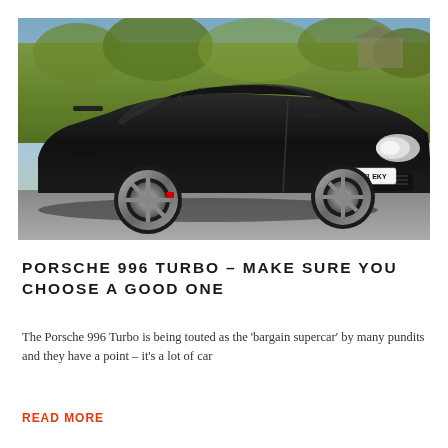[Figure (photo): Black Porsche 996 Turbo sports car parked on a road with a hedge and trees in the background. The car has silver alloy wheels and a UK license plate reading 'A11 EKY'. The car is photographed from a three-quarter front angle.]
PORSCHE 996 TURBO – MAKE SURE YOU CHOOSE A GOOD ONE
The Porsche 996 Turbo is being touted as the 'bargain supercar' by many pundits and they have a point – it's a lot of car
READ MORE